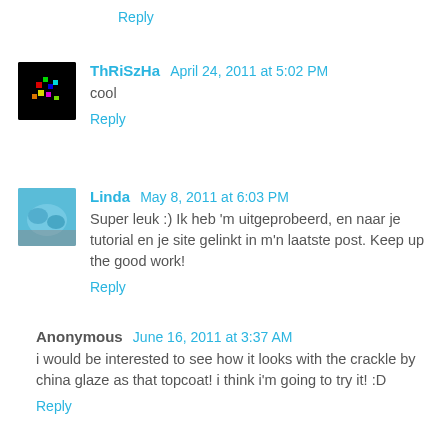Reply
ThRiSzHa April 24, 2011 at 5:02 PM
cool
Reply
Linda May 8, 2011 at 6:03 PM
Super leuk :) Ik heb 'm uitgeprobeerd, en naar je tutorial en je site gelinkt in m'n laatste post. Keep up the good work!
Reply
Anonymous June 16, 2011 at 3:37 AM
i would be interested to see how it looks with the crackle by china glaze as that topcoat! i think i'm going to try it! :D
Reply